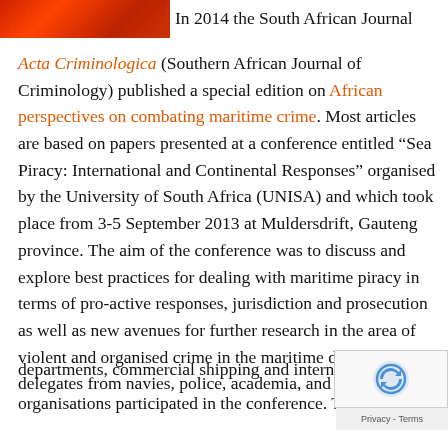[Figure (photo): Partial photograph showing what appears to be a red/orange vessel or machinery, cropped at top-left of page]
In 2014 the South African Journal Acta Criminologica (Southern African Journal of Criminology) published a special edition on African perspectives on combating maritime crime. Most articles are based on papers presented at a conference entitled “Sea Piracy: International and Continental Responses” organised by the University of South Africa (UNISA) and which took place from 3-5 September 2013 at Muldersdrift, Gauteng province. The aim of the conference was to discuss and explore best practices for dealing with maritime piracy in terms of pro-active responses, jurisdiction and prosecution as well as new avenues for further research in the area of violent and organised crime in the maritime domain. Sixty delegates from navies, police, academia, and government departments, commercial shipping and international organisations participated in the conference. Theseferences